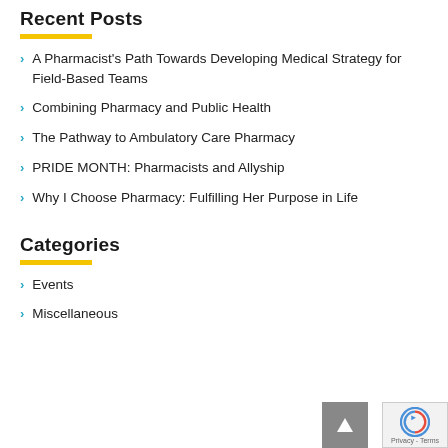Recent Posts
A Pharmacist's Path Towards Developing Medical Strategy for Field-Based Teams
Combining Pharmacy and Public Health
The Pathway to Ambulatory Care Pharmacy
PRIDE MONTH: Pharmacists and Allyship
Why I Choose Pharmacy: Fulfilling Her Purpose in Life
Categories
Events
Miscellaneous